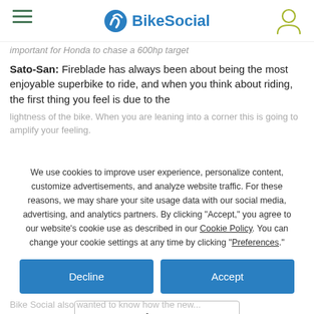BikeSocial
important for Honda to chase a 600hp target
Sato-San: Fireblade has always been about being the most enjoyable superbike to ride, and when you think about riding, the first thing you feel is due to the lightness of the bike. When you are leaning into a corner this is going to amplify your feeling.
We use cookies to improve user experience, personalize content, customize advertisements, and analyze website traffic. For these reasons, we may share your site usage data with our social media, advertising, and analytics partners. By clicking "Accept," you agree to our website's cookie use as described in our Cookie Policy. You can change your cookie settings at any time by clicking “Preferences.”
Decline
Accept
Preferences
Bike Social also wanted to know how the new...